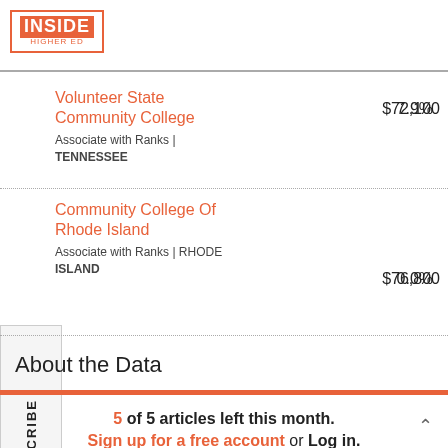[Figure (logo): Inside Higher Ed logo with orange box border]
Volunteer State Community College
Associate with Ranks | TENNESSEE
$72,100
7.9%
Community College Of Rhode Island
Associate with Ranks | RHODE ISLAND
$76,800
0.0%
About the Data
5 of 5 articles left this month.
Sign up for a free account or Log in.